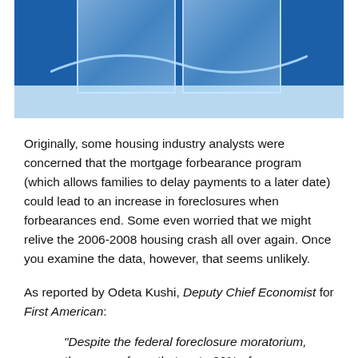[Figure (photo): Two glass containers on a blue and light blue background, representing water/mortgage imagery]
Originally, some housing industry analysts were concerned that the mortgage forbearance program (which allows families to delay payments to a later date) could lead to an increase in foreclosures when forbearances end. Some even worried that we might relive the 2006-2008 housing crash all over again. Once you examine the data, however, that seems unlikely.
As reported by Odeta Kushi, Deputy Chief Economist for First American:
“Despite the federal foreclosure moratorium, there were fears that up to 30% of